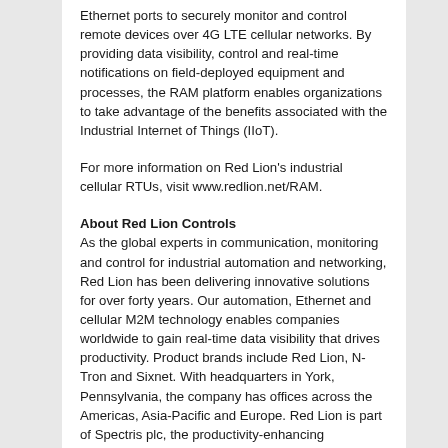Ethernet ports to securely monitor and control remote devices over 4G LTE cellular networks. By providing data visibility, control and real-time notifications on field-deployed equipment and processes, the RAM platform enables organizations to take advantage of the benefits associated with the Industrial Internet of Things (IIoT).
For more information on Red Lion's industrial cellular RTUs, visit www.redlion.net/RAM.
About Red Lion Controls
As the global experts in communication, monitoring and control for industrial automation and networking, Red Lion has been delivering innovative solutions for over forty years. Our automation, Ethernet and cellular M2M technology enables companies worldwide to gain real-time data visibility that drives productivity. Product brands include Red Lion, N-Tron and Sixnet. With headquarters in York, Pennsylvania, the company has offices across the Americas, Asia-Pacific and Europe. Red Lion is part of Spectris plc, the productivity-enhancing instrumentation and controls company. For more information, please visit www.redlion.net.